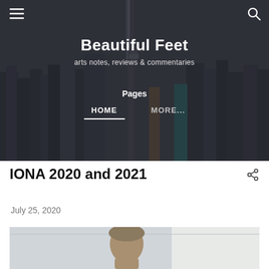[Figure (screenshot): Website header with aerial city photo background (Toronto skyline with CN Tower), showing blog name 'Beautiful Feet', subtitle 'arts notes, reviews & commentaries', navigation pages with HOME and MORE...]
Beautiful Feet
arts notes, reviews & commentaries
Pages
HOME   MORE...
IONA 2020 and 2021
July 25, 2020
[Figure (photo): Partial photo of a person's head/face at the bottom of the page]